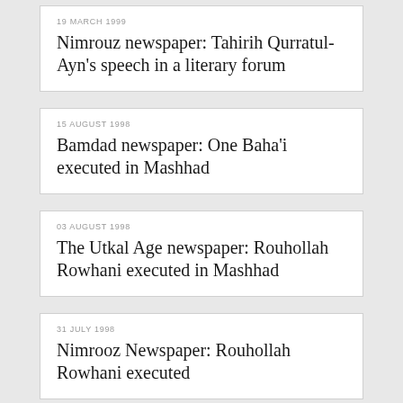19 MARCH 1999
Nimrouz newspaper: Tahirih Qurratul-Ayn's speech in a literary forum
15 AUGUST 1998
Bamdad newspaper: One Baha'i executed in Mashhad
03 AUGUST 1998
The Utkal Age newspaper: Rouhollah Rowhani executed in Mashhad
31 JULY 1998
Nimrooz Newspaper: Rouhollah Rowhani executed
31 JULY 1998
Iran Times report of Rouhollah Rowhani's